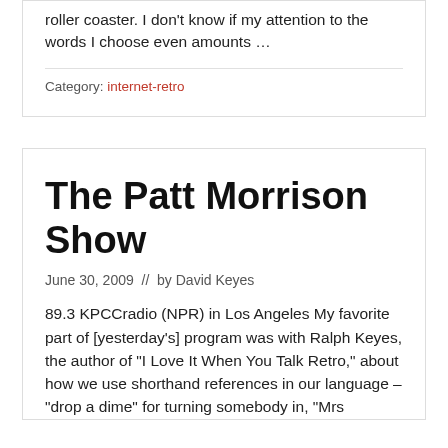roller coaster. I don’t know if my attention to the words I choose even amounts …
Category: internet-retro
The Patt Morrison Show
June 30, 2009  //  by David Keyes
89.3 KPCCradio (NPR) in Los Angeles My favorite part of [yesterday’s] program was with Ralph Keyes, the author of “I Love It When You Talk Retro,” about how we use shorthand references in our language – “drop a dime” for turning somebody in, “Mrs